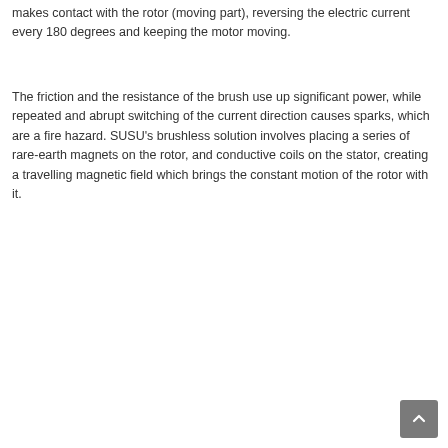makes contact with the rotor (moving part), reversing the electric current every 180 degrees and keeping the motor moving.
The friction and the resistance of the brush use up significant power, while repeated and abrupt switching of the current direction causes sparks, which are a fire hazard. SUSU's brushless solution involves placing a series of rare-earth magnets on the rotor, and conductive coils on the stator, creating a travelling magnetic field which brings the constant motion of the rotor with it.